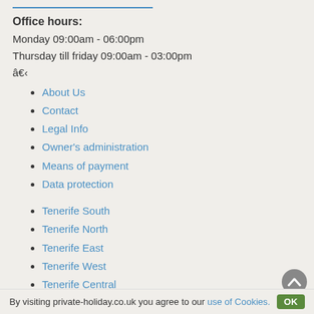Office hours:
Monday 09:00am - 06:00pm
Thursday till friday 09:00am - 03:00pm
â€‹
About Us
Contact
Legal Info
Owner's administration
Means of payment
Data protection
Tenerife South
Tenerife North
Tenerife East
Tenerife West
Tenerife Central
Tenerife Travel Guide
Beaches in Tenerife
By visiting private-holiday.co.uk you agree to our use of Cookies. OK